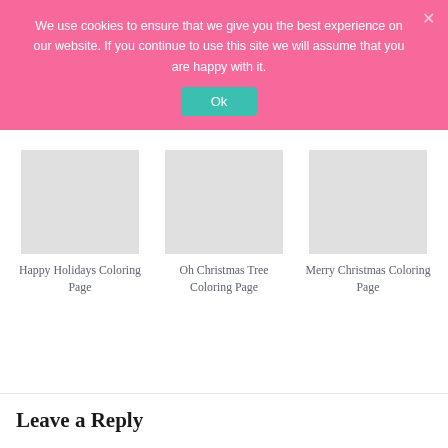We use cookies to ensure that we give you the best experience on our website. If you continue to use this site we will assume that you are happy with it.
Ok
Happy Holidays Coloring Page
Oh Christmas Tree Coloring Page
Merry Christmas Coloring Page
Leave a Reply